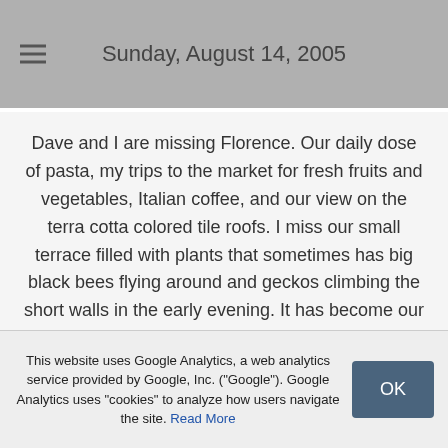Sunday, August 14, 2005
Dave and I are missing Florence. Our daily dose of pasta, my trips to the market for fresh fruits and vegetables, Italian coffee, and our view on the terra cotta colored tile roofs. I miss our small terrace filled with plants that sometimes has big black bees flying around and geckos climbing the short walls in the early evening. It has become our home and we love it.
Read Blog Post
Three long days
Saturday, August 13, 2005
This website uses Google Analytics, a web analytics service provided by Google, Inc. ("Google"). Google Analytics uses "cookies" to analyze how users navigate the site. Read More